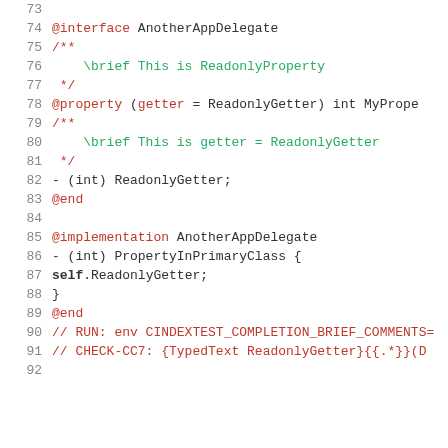[Figure (screenshot): Source code listing in Objective-C with syntax highlighting, lines 73-92. Shows @interface AnotherAppDelegate with a readonly property, @end, then @implementation AnotherAppDelegate with method bodies and RUN/CHECK comment lines.]